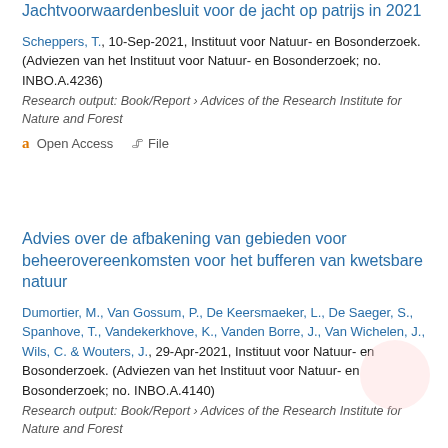Jachtvoorwaardenbesluit voor de jacht op patrijs in 2021
Scheppers, T., 10-Sep-2021, Instituut voor Natuur- en Bosonderzoek. (Adviezen van het Instituut voor Natuur- en Bosonderzoek; no. INBO.A.4236)
Research output: Book/Report › Advices of the Research Institute for Nature and Forest
Open Access   File
Advies over de afbakening van gebieden voor beheerovereenkomsten voor het bufferen van kwetsbare natuur
Dumortier, M., Van Gossum, P., De Keersmaeker, L., De Saeger, S., Spanhove, T., Vandekerkhove, K., Vanden Borre, J., Van Wichelen, J., Wils, C. & Wouters, J., 29-Apr-2021, Instituut voor Natuur- en Bosonderzoek. (Adviezen van het Instituut voor Natuur- en Bosonderzoek; no. INBO.A.4140)
Research output: Book/Report › Advices of the Research Institute for Nature and Forest
Open Access   File